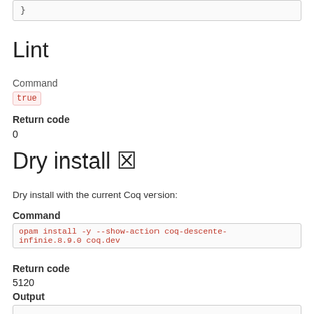}
Lint
Command
true
Return code
0
Dry install ✗
Dry install with the current Coq version:
Command
opam install -y --show-action coq-descente-infinie.8.9.0 coq.dev
Return code
5120
Output
[NOTE] Package coq is already installed (curr